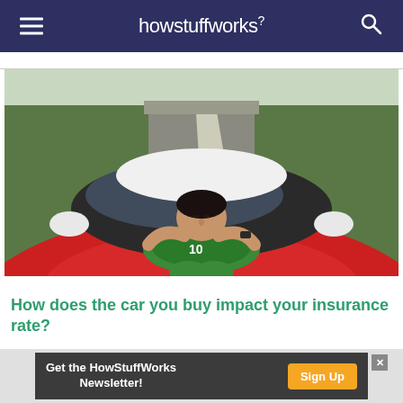howstuffworks
[Figure (photo): Man in green t-shirt lying on the hood of a red car on a road, eyes closed, hands behind head, green grass and road visible in background]
How does the car you buy impact your insurance rate?
Get the HowStuffWorks Newsletter! Sign Up